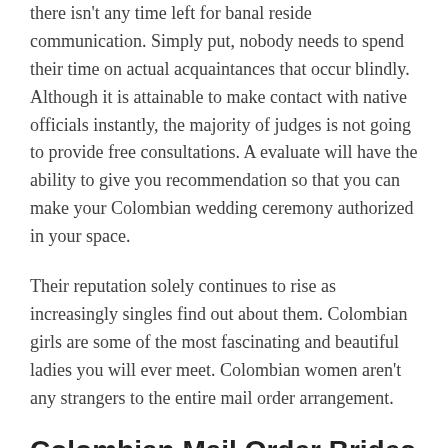there isn't any time left for banal reside communication. Simply put, nobody needs to spend their time on actual acquaintances that occur blindly. Although it is attainable to make contact with native officials instantly, the majority of judges is not going to provide free consultations. A evaluate will have the ability to give you recommendation so that you can make your Colombian wedding ceremony authorized in your space.
Their reputation solely continues to rise as increasingly singles find out about them. Colombian girls are some of the most fascinating and beautiful ladies you will ever meet. Colombian women aren't any strangers to the entire mail order arrangement.
Colombian Mail Order Brides – A Summary
They respect not the numbers, however the persona, and whenever you find each other fascinating, it will